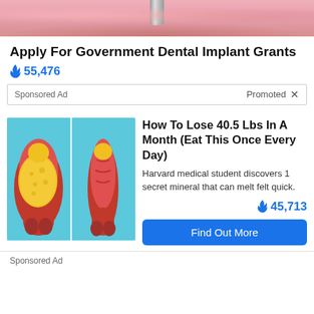[Figure (illustration): Top portion of a dental implant illustration showing pink gum tissue and a metal screw implant]
Apply For Government Dental Implant Grants
🔥 55,476
Sponsored Ad | Promoted X
[Figure (illustration): Medical illustration on blue background showing two side-by-side views of a human body/joint with yellow fat deposits (before and after comparison)]
How To Lose 40.5 Lbs In A Month (Eat This Once Every Day)
Harvard medical student discovers 1 secret mineral that can melt felt quick.
🔥 45,713
Find Out More
Sponsored Ad